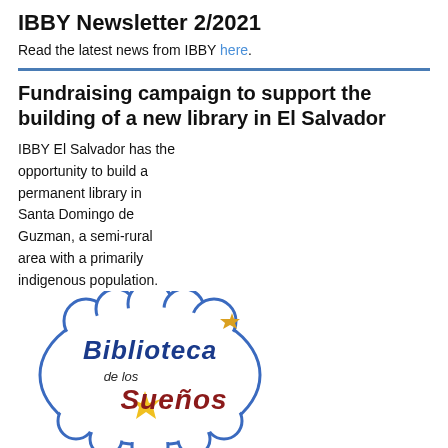IBBY Newsletter 2/2021
Read the latest news from IBBY here.
Fundraising campaign to support the building of a new library in El Salvador
IBBY El Salvador has the opportunity to build a permanent library in Santa Domingo de Guzman, a semi-rural area with a primarily indigenous population. The local income in the area is below the national average and literacy rate is low. Award-winning Salvadorian author Jorge Argueta conceived and founded the Library of
[Figure (logo): Biblioteca de los Sueños logo — cloud-shaped border with blue and dark-red stylized text 'Biblioteca de los Sueños' and a yellow star/sun illustration]